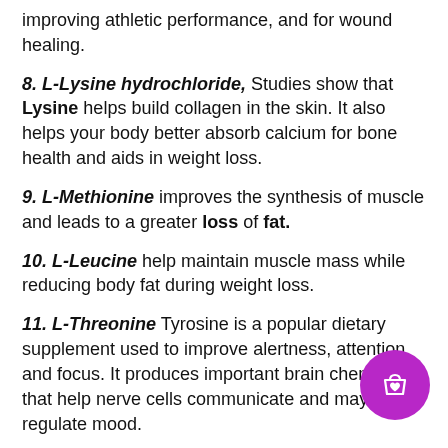improving athletic performance, and for wound healing.
8. L-Lysine hydrochloride, Studies show that Lysine helps build collagen in the skin. It also helps your body better absorb calcium for bone health and aids in weight loss.
9. L-Methionine improves the synthesis of muscle and leads to a greater loss of fat.
10. L-Leucine help maintain muscle mass while reducing body fat during weight loss.
11. L-Threonine Tyrosine is a popular dietary supplement used to improve alertness, attention and focus. It produces important brain chemicals that help nerve cells communicate and may even regulate mood.
12. L-Alanine is involved in sugar and acid